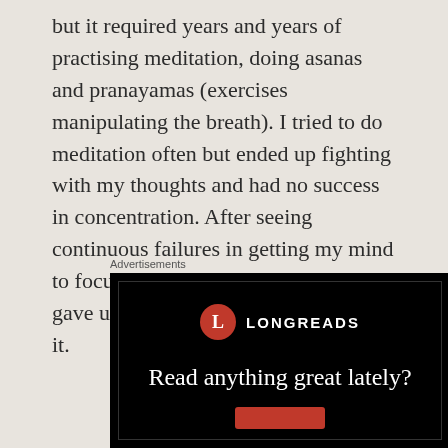but it required years and years of practising meditation, doing asanas and pranayamas (exercises manipulating the breath). I tried to do meditation often but ended up fighting with my thoughts and had no success in concentration. After seeing continuous failures in getting my mind to focus on a single object, I finally gave up the confidence that I could do it.
Advertisements
[Figure (other): Longreads advertisement banner on black background with red circular logo containing letter L, text 'LONGREADS', tagline 'Read anything great lately?' and a red button.]